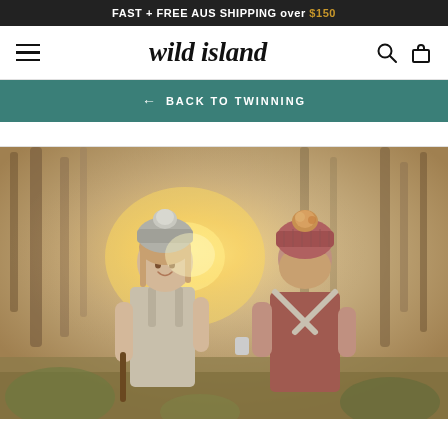FAST + FREE AUS SHIPPING over $150
[Figure (logo): Wild island script logo in italic serif font, with hamburger menu icon on left and search/bag icons on right]
← BACK TO TWINNING
[Figure (photo): Two children in a forest setting wearing knit beanies with pom-poms. One child faces the camera smiling, wearing a grey linen apron and grey beanie. The other child faces away, wearing a rust/mauve knit beanie and terracotta overalls. Warm golden sunlight filters through trees in the background.]